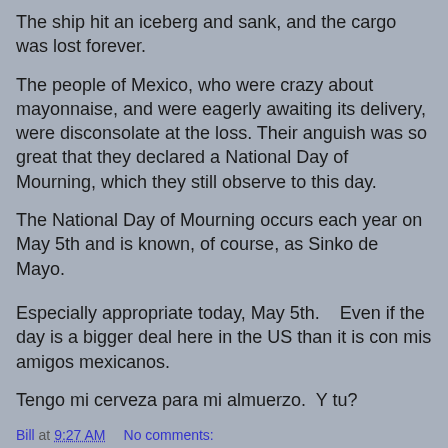The ship hit an iceberg and sank, and the cargo was lost forever.
The people of Mexico, who were crazy about mayonnaise, and were eagerly awaiting its delivery, were disconsolate at the loss. Their anguish was so great that they declared a National Day of Mourning, which they still observe to this day.
The National Day of Mourning occurs each year on May 5th and is known, of course, as Sinko de Mayo.
Especially appropriate today, May 5th.   Even if the day is a bigger deal here in the US than it is con mis amigos mexicanos.
Tengo mi cerveza para mi almuerzo.  Y tu?
Bill at 9:27 AM    No comments:
Share